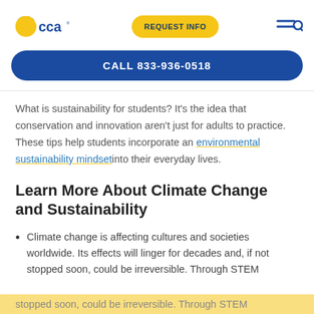[Figure (logo): CCA (Commonwealth Charter Academy) logo with blue and yellow sun/book icon and 'cca' text]
REQUEST INFO
CALL 833-936-0518
What is sustainability for students? It's the idea that conservation and innovation aren't just for adults to practice. These tips help students incorporate an environmental sustainability mindset into their everyday lives.
Learn More About Climate Change and Sustainability
Climate change is affecting cultures and societies worldwide. Its effects will linger for decades and, if not stopped soon, could be irreversible. Through STEM